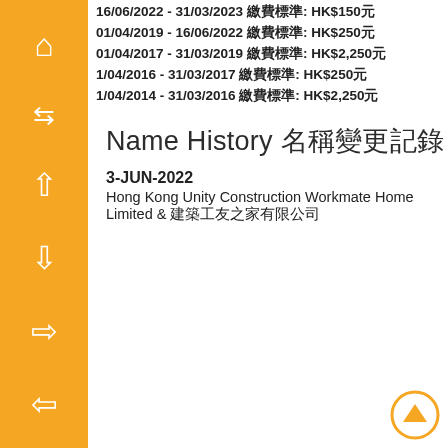16/06/2022 - 31/03/2023 繳費標準: HK$150元
01/04/2019 - 16/06/2022 繳費標準: HK$250元
01/04/2017 - 31/03/2019 繳費標準: HK$2,250元
1/04/2016 - 31/03/2017 繳費標準: HK$250元
1/04/2014 - 31/03/2016 繳費標準: HK$2,250元
Name History 名稱變更記錄
3-JUN-2022
Hong Kong Unity Construction Workmate Home Limited 及 建築工友之家有限公司